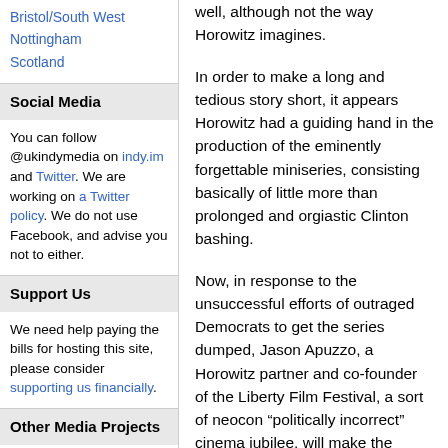Bristol/South West
Nottingham
Scotland
Social Media
You can follow @ukindymedia on indy.im and Twitter. We are working on a Twitter policy. We do not use Facebook, and advise you not to either.
Support Us
We need help paying the bills for hosting this site, please consider supporting us financially.
Other Media Projects
well, although not the way Horowitz imagines.
In order to make a long and tedious story short, it appears Horowitz had a guiding hand in the production of the eminently forgettable miniseries, consisting basically of little more than prolonged and orgiastic Clinton bashing.
Now, in response to the unsuccessful efforts of outraged Democrats to get the series dumped, Jason Apuzzo, a Horowitz partner and co-founder of the Liberty Film Festival, a sort of neocon “politically incorrect” cinema jubilee, will make the rounds on the Situation Room and the Glenn Beck Show, the latter where he will likely receive a warm welcome, as Beck is a raving fascist lunatic, describing himself as a “despicable human being,” not for reviling Katrina victims and nine eleven families, but rather for at one time sharing the same proclivity for destructive